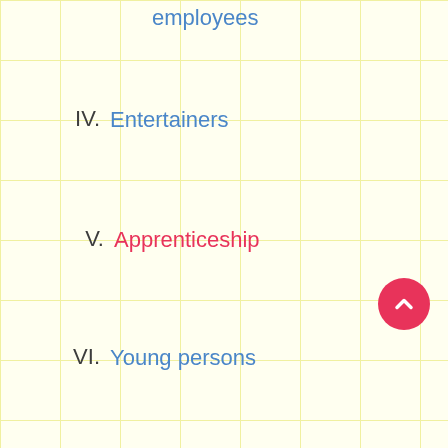employees
IV.  Entertainers
V.  Apprenticeship
VI.  Young persons
VII.  Things to be aware of before signing employment contracts
VIII.  Employees and self-employed persons
IX.  Protection of employees
X.  Employment Traps